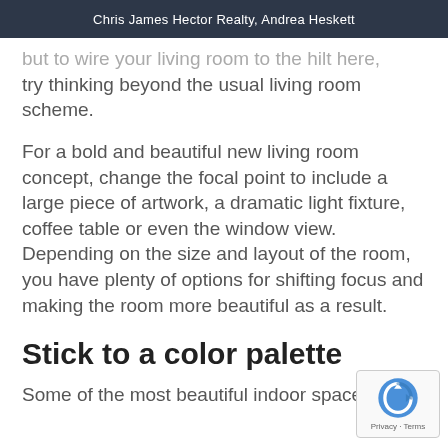Chris James Hector Realty, Andrea Heskett
...but to wire your living room to the hilt here, try thinking beyond the usual living room scheme.
For a bold and beautiful new living room concept, change the focal point to include a large piece of artwork, a dramatic light fixture, coffee table or even the window view. Depending on the size and layout of the room, you have plenty of options for shifting focus and making the room more beautiful as a result.
Stick to a color palette
Some of the most beautiful indoor spaces